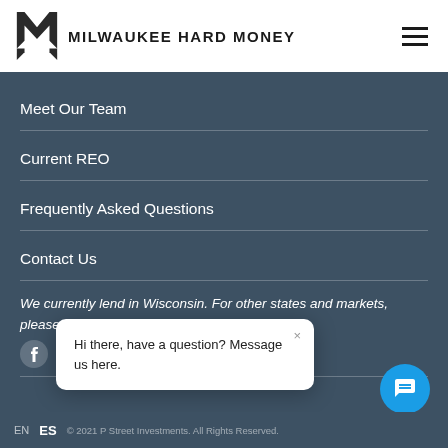MILWAUKEE HARD MONEY
Meet Our Team
Current REO
Frequently Asked Questions
Contact Us
We currently lend in Wisconsin. For other states and markets, please visit The Hard Money Co.
[Figure (other): Social media icons: Facebook, Twitter, YouTube, LinkedIn, Instagram]
Hi there, have a question? Message us here.
EN  ES  © 2021 P Street Investments. All Rights Reserved.